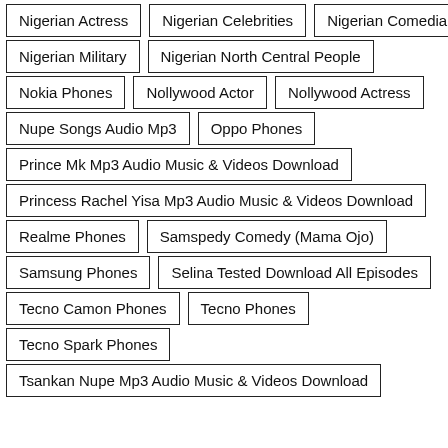Nigerian Actress
Nigerian Celebrities
Nigerian Comedian
Nigerian Military
Nigerian North Central People
Nokia Phones
Nollywood Actor
Nollywood Actress
Nupe Songs Audio Mp3
Oppo Phones
Prince Mk Mp3 Audio Music & Videos Download
Princess Rachel Yisa Mp3 Audio Music & Videos Download
Realme Phones
Samspedy Comedy (Mama Ojo)
Samsung Phones
Selina Tested Download All Episodes
Tecno Camon Phones
Tecno Phones
Tecno Spark Phones
Tsankan Nupe Mp3 Audio Music & Videos Download